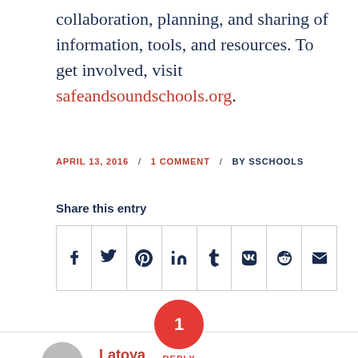collaboration, planning, and sharing of information, tools, and resources. To get involved, visit safeandsoundschools.org.
APRIL 13, 2016  /  1 COMMENT  /  BY SSCHOOLS
Share this entry
[Figure (other): Social share buttons row: Facebook (f), Twitter (bird), Pinterest (p), LinkedIn (in), Tumblr (t), VK (vk), Reddit (alien), Email (envelope)]
1 REPLY
Latoya